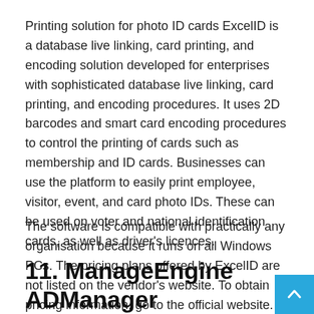Printing solution for photo ID cards ExcelID is a database live linking, card printing, and encoding solution developed for enterprises with sophisticated database live linking, card printing, and encoding procedures. It uses 2D barcodes and smart card encoding procedures to control the printing of cards such as membership and ID cards. Businesses can use the platform to easily print employee, visitor, event, and card photo IDs. These can be used on voter and national identification cards, as well as driver's licences.
The software is compatible with practically any organisation because it runs on all Windows PCs. The pricing plans offered by ExcelID are not listed on the vendor's website. To obtain pricing information, go to the official website.
11. ManageEngine ADManager